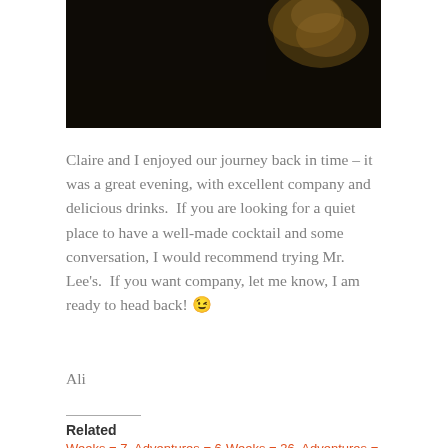[Figure (photo): Dark background photo showing part of a cocktail or drink glass with golden/amber tones, cropped at top of page]
Claire and I enjoyed our journey back in time – it was a great evening, with excellent company and delicious drinks.  If you are looking for a quiet place to have a well-made cocktail and some conversation, I would recommend trying Mr. Lee's.  If you want company, let me know, I am ready to head back! 😉
Ali
Related
Weeks = 7, Adventures = 6 | Backpacking
October 29, 2017
Weeks = 36, Adventures = 34 | Rappelling and Via Ferrata